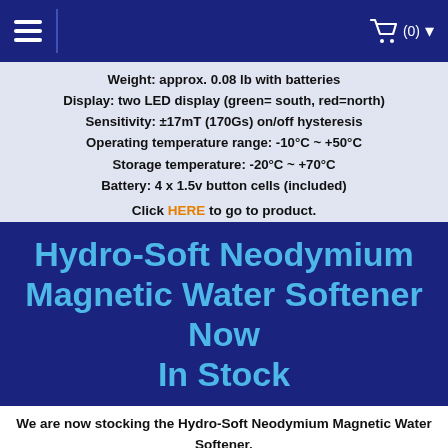Navigation bar with hamburger menu and cart (0)
Weight: approx. 0.08 lb with batteries
Display: two LED display (green= south, red=north)
Sensitivity: ±17mT (170Gs) on/off hysteresis
Operating temperature range: -10°C ~ +50°C
Storage temperature: -20°C ~ +70°C
Battery: 4 x 1.5v button cells (included)
Click HERE to go to product.
Hydro-Soft Neodymium Magnetic Water Softener Now In Stock
We are now stocking the Hydro-Soft Neodymium Magnetic Water Softener.
"Hydro-Soft" magnetic water devices are easily placed over the outside of any type of plastic or copper pipe.
Even a caveman can install "Hydro-Soft" water treatment devices...It's